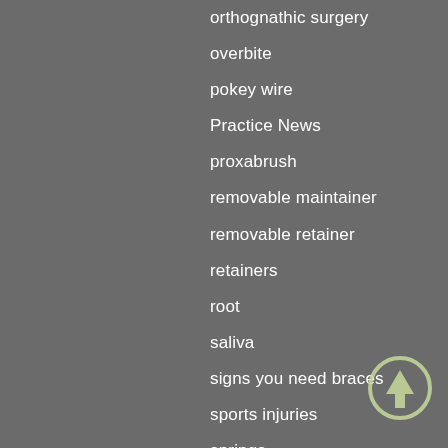orthognathic surgery
overbite
pokey wire
Practice News
proxabrush
removable maintainer
removable retainer
retainers
root
saliva
signs you need braces
sports injuries
springs
straight teeth
surgical orthodontics
tartar
teeth
[Figure (illustration): Up arrow icon, circular outline with upward arrow, light olive/yellow-green color, in bottom-right corner]